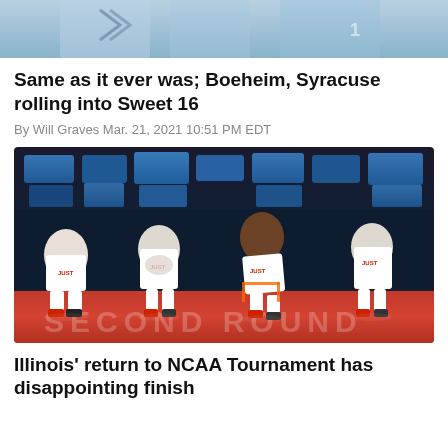[Figure (photo): Top portion of a basketball photo showing players in light blue jerseys with partial view of NCAA tournament setting]
Same as it ever was; Boeheim, Syracuse rolling into Sweet 16
By Will Graves Mar. 21, 2021 10:51 PM EDT
[Figure (photo): Four Illinois basketball players sitting on the bench looking dejected after losing their NCAA Tournament game, wearing white jerseys with 'JUST' visible, sitting in front of blue equipment cases on a red court]
Illinois' return to NCAA Tournament has disappointing finish